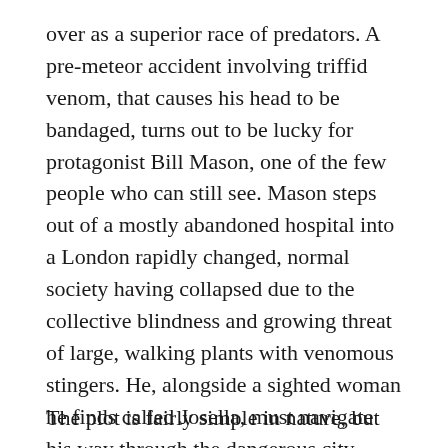over as a superior race of predators. A pre-meteor accident involving triffid venom, that causes his head to be bandaged, turns out to be lucky for protagonist Bill Mason, one of the few people who can still see. Mason steps out of a mostly abandoned hospital into a London rapidly changed, normal society having collapsed due to the collective blindness and growing threat of large, walking plants with venomous stingers. He, alongside a sighted woman he finds called Josella, must navigate his way through the dangerous city, avoiding triffids and the desperate blind inhabitants alike.
The plot is fairly simple in nature, but